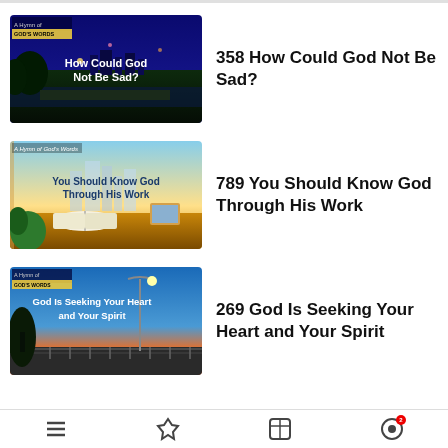[Figure (screenshot): Thumbnail for hymn 358 'How Could God Not Be Sad?' — dark blue night scene with city lights and park]
358 How Could God Not Be Sad?
[Figure (screenshot): Thumbnail for hymn 789 'You Should Know God Through His Work' — sunrise cityscape with open book]
789 You Should Know God Through His Work
[Figure (screenshot): Thumbnail for hymn 269 'God Is Seeking Your Heart and Your Spirit' — dusk scene with street lamp and railing]
269 God Is Seeking Your Heart and Your Spirit